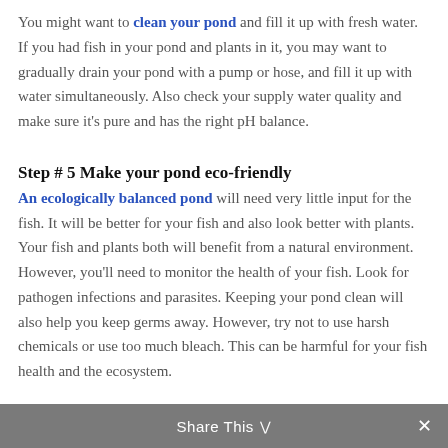You might want to clean your pond and fill it up with fresh water. If you had fish in your pond and plants in it, you may want to gradually drain your pond with a pump or hose, and fill it up with water simultaneously. Also check your supply water quality and make sure it's pure and has the right pH balance.
Step # 5 Make your pond eco-friendly
An ecologically balanced pond will need very little input for the fish. It will be better for your fish and also look better with plants. Your fish and plants both will benefit from a natural environment. However, you'll need to monitor the health of your fish. Look for pathogen infections and parasites. Keeping your pond clean will also help you keep germs away. However, try not to use harsh chemicals or use too much bleach. This can be harmful for your fish health and the ecosystem.
Share This ∨  ✕